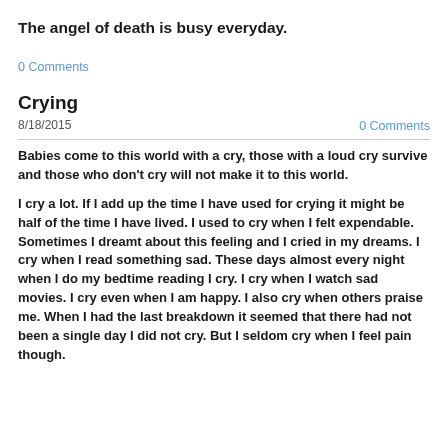The angel of death is busy everyday.
0 Comments
Crying
8/18/2015
0 Comments
Babies come to this world with a cry, those with a loud cry survive and those who don't cry will not make it to this world.
I cry a lot.  If I add up the time I have used for crying it might be half of the time I have lived.  I used to cry when I felt expendable.  Sometimes I dreamt about this feeling and I cried in my dreams.  I cry when I read something sad.  These days almost every night when I do my bedtime reading I cry.  I cry when I watch sad movies.  I cry even when I am happy.  I also cry when others praise me.  When I had the last breakdown it seemed that there had not been a single day I did not cry.  But I seldom cry when I feel pain though.